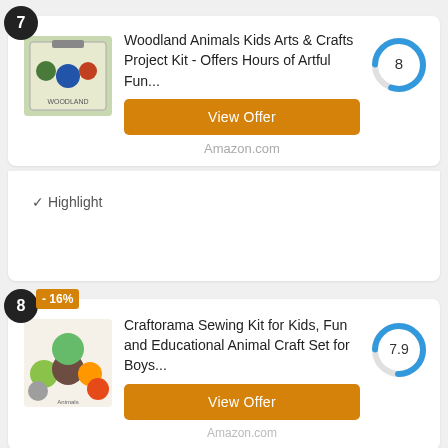7
[Figure (photo): Woodland Animals Kids Arts & Crafts Project Kit product box image]
Woodland Animals Kids Arts & Crafts Project Kit - Offers Hours of Artful Fun...
[Figure (donut-chart): Score circle showing 8 out of 10]
View Offer
Amazon.com
✓ Highlight
8
-16%
[Figure (photo): Craftorama Sewing Kit for Kids product image with animal characters]
Craftorama Sewing Kit for Kids, Fun and Educational Animal Craft Set for Boys...
[Figure (donut-chart): Score circle showing 7.9 out of 10]
View Offer
Amazon.com